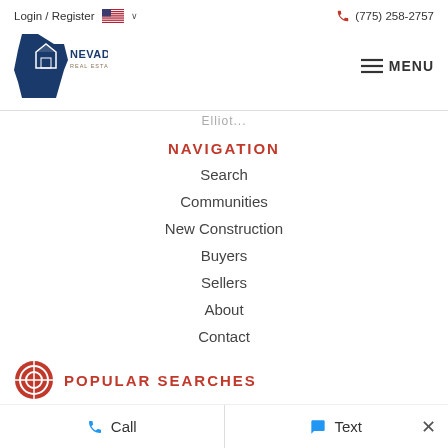Login / Register   (775) 258-2757
[Figure (logo): Nevada Real Estate Group logo — dark blue Nevada state silhouette with a house outline and text 'NEVADA REAL ESTATE GROUP']
MENU
Elliot...
NAVIGATION
Search
Communities
New Construction
Buyers
Sellers
About
Contact
POPULAR SEARCHES
Call   Text